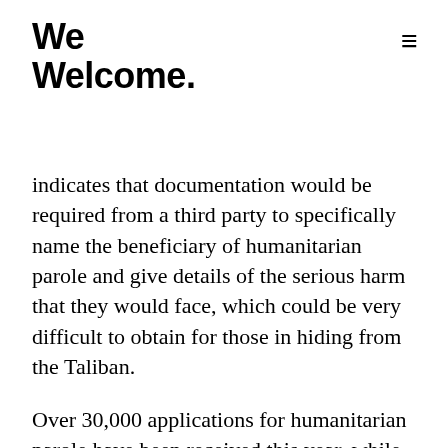We Welcome.
indicates that documentation would be required from a third party to specifically name the beneficiary of humanitarian parole and give details of the serious harm that they would face, which could be very difficult to obtain for those in hiding from the Taliban.
Over 30,000 applications for humanitarian parole have been received this year, while the annual average is 2,000. For a deeper understanding of how humanitarian parole works, this explainer from the National Immigration Forum gives a great overview.
A human trafficking sting in Georgia highlighted vulnerabilities for migrant farmworkers